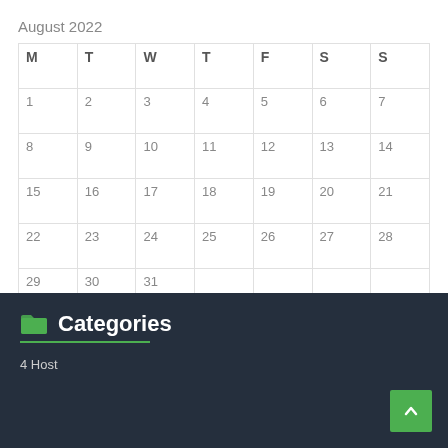August 2022
| M | T | W | T | F | S | S |
| --- | --- | --- | --- | --- | --- | --- |
| 1 | 2 | 3 | 4 | 5 | 6 | 7 |
| 8 | 9 | 10 | 11 | 12 | 13 | 14 |
| 15 | 16 | 17 | 18 | 19 | 20 | 21 |
| 22 | 23 | 24 | 25 | 26 | 27 | 28 |
| 29 | 30 | 31 |  |  |  |  |
« Feb
Categories
4 Host